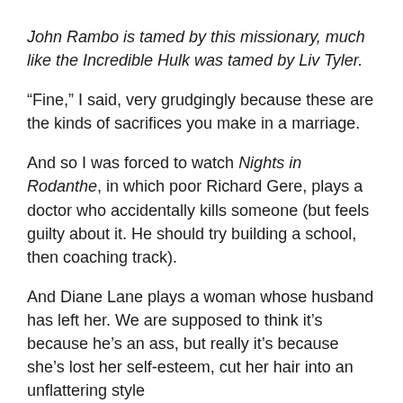John Rambo is tamed by this missionary, much like the Incredible Hulk was tamed by Liv Tyler.
“Fine,” I said, very grudgingly because these are the kinds of sacrifices you make in a marriage.
And so I was forced to watch Nights in Rodanthe, in which poor Richard Gere, plays a doctor who accidentally kills someone (but feels guilty about it. He should try building a school, then coaching track).
And Diane Lane plays a woman whose husband has left her. We are supposed to think it’s because he’s an ass, but really it’s because she’s lost her self-esteem, cut her hair into an unflattering style